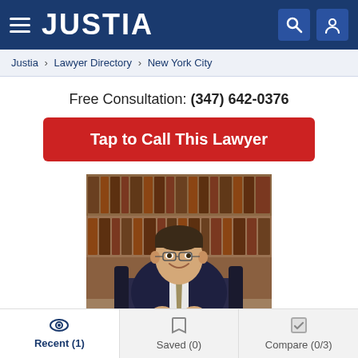JUSTIA
Justia > Lawyer Directory > New York City
Free Consultation: (347) 642-0376
Tap to Call This Lawyer
[Figure (photo): Professional headshot of a male attorney in a dark suit and tie, seated at a desk with law books in the background, wearing glasses and smiling]
Recent (1)  Saved (0)  Compare (0/3)